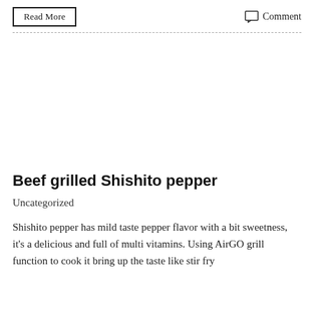Read More
Comment
Beef grilled Shishito pepper
Uncategorized
Shishito pepper has mild taste pepper flavor with a bit sweetness, it's a delicious and full of multi vitamins. Using AirGO grill function to cook it bring up the taste like stir fry